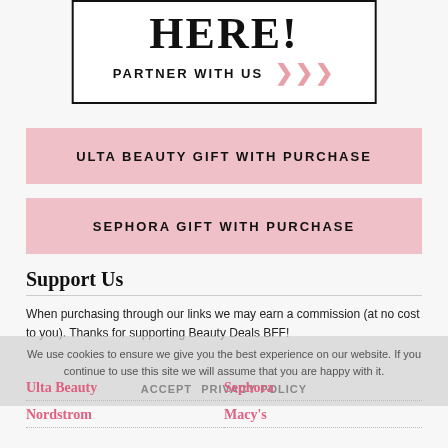[Figure (other): Promotional box with bold text 'HERE!' and 'PARTNER WITH US' with pink chevrons]
ULTA BEAUTY GIFT WITH PURCHASE
SEPHORA GIFT WITH PURCHASE
Support Us
When purchasing through our links we may earn a commission (at no cost to you). Thanks for supporting Beauty Deals BFF!
Ulta Beauty
Sephora
Nordstrom
Macy's